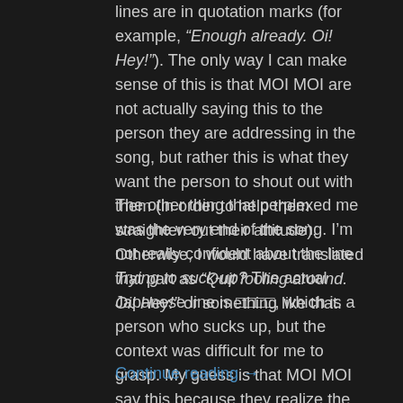lines are in quotation marks (for example, "Enough already. Oi! Hey!"). The only way I can make sense of this is that MOI MOI are not actually saying this to the person they are addressing in the song, but rather this is what they want the person to shout out with them (in order to help them straighten out their attitude). Otherwise, I would have translated that part as “Quit fooling around. Oi! Hey!” or something like that.
The other thing that perplexed me was the very end of the song. I’m not really confident about the line Trying to suck-up? The actual Japanese line is □□□□, which is a person who sucks up, but the context was difficult for me to grasp. My guess is that MOI MOI say this because they realize the person they are addressing in the song is only feigning to have fixed the problem with their attitude. Hence the following two lines, where MOI MOI show that they are up for the challenge. But again, I may be mistaken.
Continue reading →